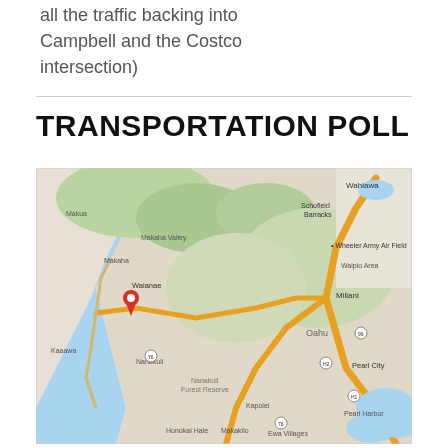all the traffic backing into Campbell and the Costco intersection)
TRANSPORTATION POLL
[Figure (map): Google Maps view of Oahu, Hawaii showing the western coastline including Makaha, Waianae, and surrounding areas, with major highways highlighted in orange. A red location pin marker is placed near Waianae on the western coast. The map shows Schofield Barracks, Wheeler Army Air Field, Miliani, Pearl City, and Pearl Harbor to the east.]